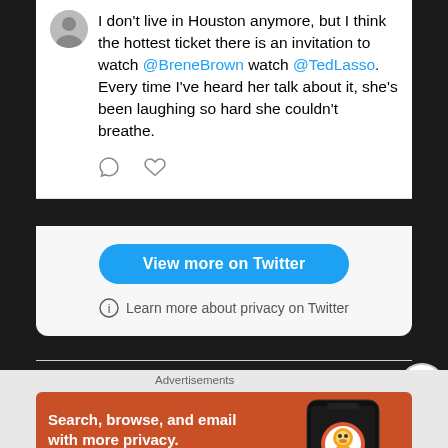I don't live in Houston anymore, but I think the hottest ticket there is an invitation to watch @BreneBrown watch @TedLasso. Every time I've heard her talk about it, she's been laughing so hard she couldn't breathe.
View more on Twitter
Learn more about privacy on Twitter
Advertisements
[Figure (screenshot): DuckDuckGo advertisement banner with orange background. Text reads 'Search, browse, and email with more privacy. All in One Free App' with DuckDuckGo logo and phone mockup on the right.]